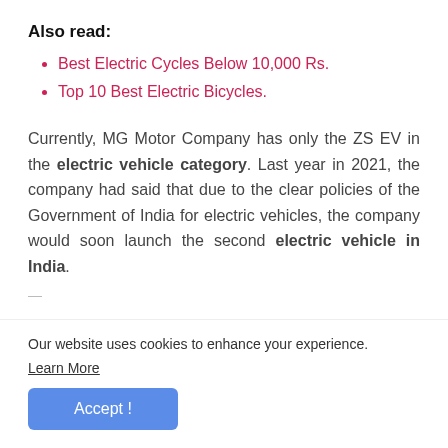Also read:
Best Electric Cycles Below 10,000 Rs.
Top 10 Best Electric Bicycles.
Currently, MG Motor Company has only the ZS EV in the electric vehicle category. Last year in 2021, the company had said that due to the clear policies of the Government of India for electric vehicles, the company would soon launch the second electric vehicle in India.
Our website uses cookies to enhance your experience. Learn More